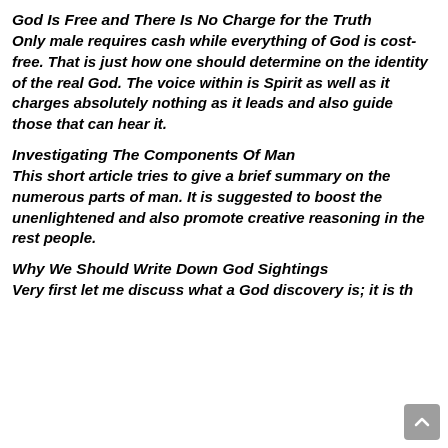God Is Free and There Is No Charge for the Truth
Only male requires cash while everything of God is cost-free. That is just how one should determine on the identity of the real God. The voice within is Spirit as well as it charges absolutely nothing as it leads and also guide those that can hear it.
Investigating The Components Of Man
This short article tries to give a brief summary on the numerous parts of man. It is suggested to boost the unenlightened and also promote creative reasoning in the rest people.
Why We Should Write Down God Sightings
Very first let me discuss what a God discovery is; it is th